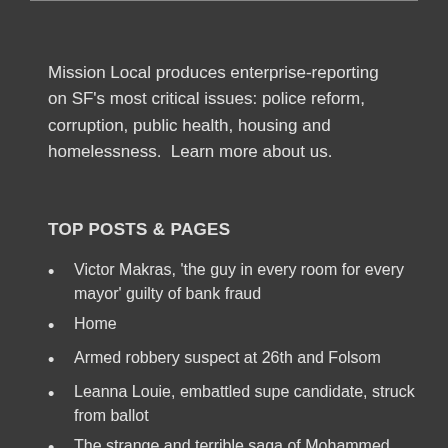Mission Local produces enterprise-reporting on SF's most critical issues: police reform, corruption, public health, housing and homelessness.  Learn more about us.
TOP POSTS & PAGES
Victor Makras, 'the guy in every room for every mayor' guilty of bank fraud
Home
Armed robbery suspect at 26th and Folsom
Leanna Louie, embattled supe candidate, struck from ballot
The strange and terrible saga of Mohammed Nuru turns the page: Judge hands down 7-year sentence
Upstart: Mission Local appoints a board and will become a